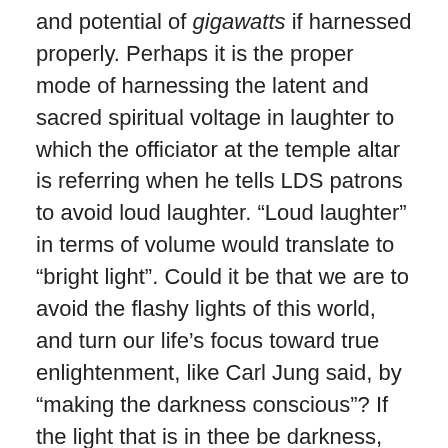and potential of gigawatts if harnessed properly. Perhaps it is the proper mode of harnessing the latent and sacred spiritual voltage in laughter to which the officiator at the temple altar is referring when he tells LDS patrons to avoid loud laughter. “Loud laughter” in terms of volume would translate to “bright light”. Could it be that we are to avoid the flashy lights of this world, and turn our life’s focus toward true enlightenment, like Carl Jung said, by “making the darkness conscious”? If the light that is in thee be darkness, how great is that darkness! (Matt 6:23, 3 Nephi 13:23) We live in a jail called “Liberty”. The life of a prisoner can wear the spirit down, so to keep our minds sharp and clear, we should do as Joseph wrote to us from the confines of Liberty Jail, in Missouri. If our souls are going to get worn down while on this Prison Planet, let our lives at least not be a waste. Instead of drowning in